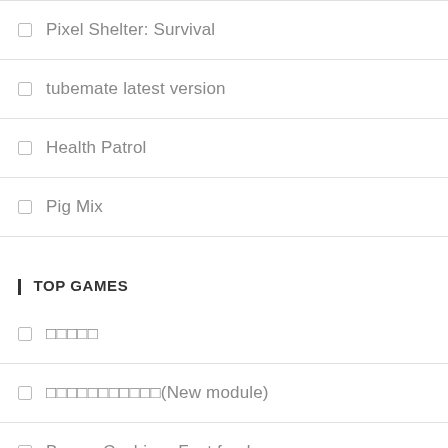Pixel Shelter: Survival
tubemate latest version
Health Patrol
Pig Mix
TOP GAMES
□□□□□
□□□□□□□□□□□(New module)
Burger Cashier - Fast food game
Cat Paradise